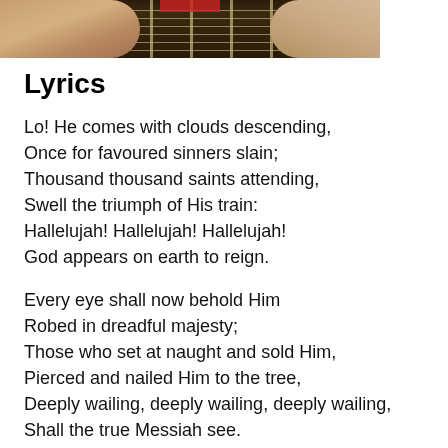[Figure (photo): Close-up photo of hands playing a guitar, showing fretboard with strings and frets, fingers pressing strings, partial red element visible at top]
Lyrics
Lo! He comes with clouds descending,
Once for favoured sinners slain;
Thousand thousand saints attending,
Swell the triumph of His train:
Hallelujah! Hallelujah! Hallelujah!
God appears on earth to reign.
Every eye shall now behold Him
Robed in dreadful majesty;
Those who set at naught and sold Him,
Pierced and nailed Him to the tree,
Deeply wailing, deeply wailing, deeply wailing,
Shall the true Messiah see.
Every island, sea, and mountain,